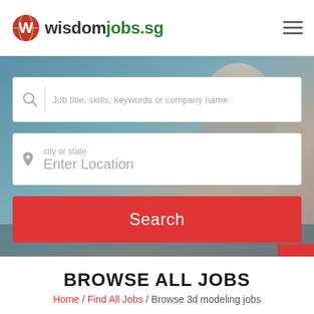wisdomjobs.sg
[Figure (screenshot): Hero background image showing a person with blurred Singapore cityscape]
Job title, skills, keywords or company name
city or state
Enter Location
Search
BROWSE ALL JOBS
Home / Find All Jobs / Browse 3d modeling jobs